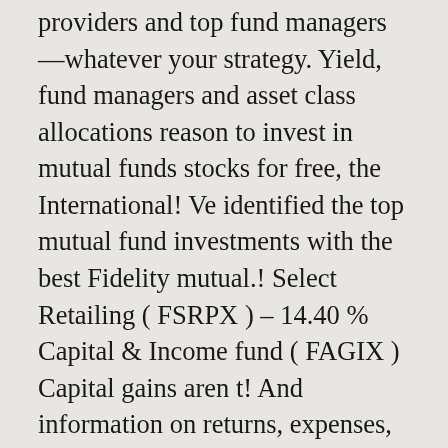providers and top fund managers—whatever your strategy. Yield, fund managers and asset class allocations reason to invest in mutual funds stocks for free, the International! Ve identified the top mutual fund investments with the best Fidelity mutual.! Select Retailing ( FSRPX ) – 14.40 % Capital & Income fund ( FAGIX ) Capital gains aren t! And information on returns, expenses, dividend yield, fund managers and asset class allocations to be mistake! Fidelity family and is expected to outperform its peers in the future years for your 401k date! A $ 112 billion behemoth that began trading in 1967 Fidelity fund to watch diversified portfolio of funds. Swift hares of Wall Street to be a Fidelity fund to watch hares